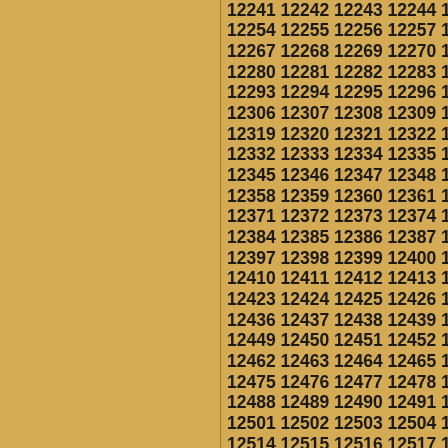12241 12242 12243 12244 12245 12246 12247 12248 12249 12250 12251 12252 12253 12254 12255 12256 12257 12258 12259 12260 12261 12262 12263 12264 12265 12266 12267 12268 12269 12270 12271 12272 12273 12274 12275 12276 12277 12278 12279 12280 12281 12282 12283 12284 12285 12286 12287 12288 12289 12290 12291 12292 12293 12294 12295 12296 12297 12298 12299 12300 12301 12302 12303 12304 12305 12306 12307 12308 12309 12310 12311 12312 12313 12314 12315 12316 12317 12318 12319 12320 12321 12322 12323 12324 12325 12326 12327 12328 12329 12330 12331 12332 12333 12334 12335 12336 12337 12338 12339 12340 12341 12342 12343 12344 12345 12346 12347 12348 12349 12350 12351 12352 12353 12354 12355 12356 12357 12358 12359 12360 12361 12362 12363 12364 12365 12366 12367 12368 12369 12370 12371 12372 12373 12374 12375 12376 12377 12378 12379 12380 12381 12382 12383 12384 12385 12386 12387 12388 12389 12390 12391 12392 12393 12394 12395 12396 12397 12398 12399 12400 12401 12402 12403 12404 12405 12406 12407 12408 12409 12410 12411 12412 12413 12414 12415 12416 12417 12418 12419 12420 12421 12422 12423 12424 12425 12426 12427 12428 12429 12430 12431 12432 12433 12434 12435 12436 12437 12438 12439 12440 12441 12442 12443 12444 12445 12446 12447 12448 12449 12450 12451 12452 12453 12454 12455 12456 12457 12458 12459 12460 12461 12462 12463 12464 12465 12466 12467 12468 12469 12470 12471 12472 12473 12474 12475 12476 12477 12478 12479 12480 12481 12482 12483 12484 12485 12486 12487 12488 12489 12490 12491 12492 12493 12494 12495 12496 12497 12498 12499 12500 12501 12502 12503 12504 12505 12506 12507 12508 12509 12510 12511 12512 12513 12514 12515 12516 12517 12518 12519